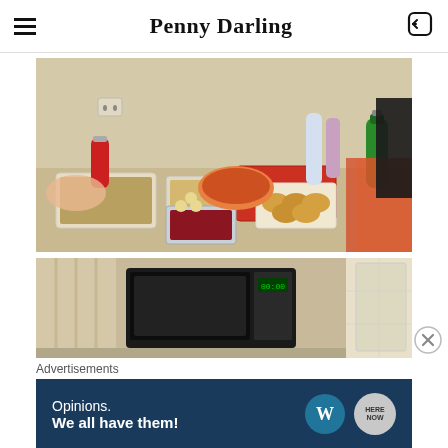Penny Darling
[Figure (photo): Photo of a table covered with Thanksgiving or potluck food dishes including casseroles, rolls, cranberry sauce, beverages including a 2-liter soda bottle, a bowl of soup, and various side dishes. Multiple people partially visible at the edges.]
[Figure (photo): Partial photo showing a kitchen counter with a microwave and other kitchen appliances/items.]
Advertisements
[Figure (screenshot): Advertisement banner with dark navy background reading 'Opinions. We all have them!' with WordPress logo and another circular logo on the right.]